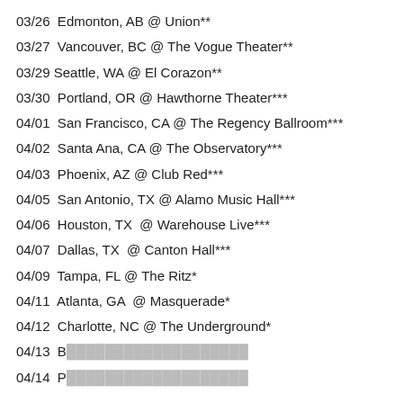03/26  Edmonton, AB @ Union**
03/27  Vancouver, BC @ The Vogue Theater**
03/29  Seattle, WA @ El Corazon**
03/30  Portland, OR @ Hawthorne Theater***
04/01  San Francisco, CA @ The Regency Ballroom***
04/02  Santa Ana, CA @ The Observatory***
04/03  Phoenix, AZ @ Club Red***
04/05  San Antonio, TX @ Alamo Music Hall***
04/06  Houston, TX  @ Warehouse Live***
04/07  Dallas, TX  @ Canton Hall***
04/09  Tampa, FL @ The Ritz*
04/11  Atlanta, GA  @ Masquerade*
04/12  Charlotte, NC @ The Underground*
04/13  [partially obscured]
04/14  [partially obscured]